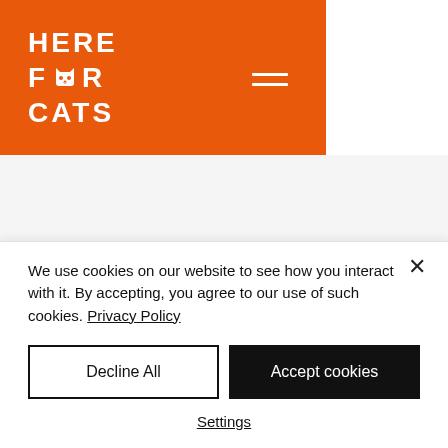[Figure (logo): Here For Cats logo — orange rectangle with white bold text reading HERE FOR CATS with a cat face icon replacing the O in FOR, and a hamburger menu icon on the right]
We use cookies on our website to see how you interact with it. By accepting, you agree to our use of such cookies. Privacy Policy
Decline All
Accept cookies
Settings